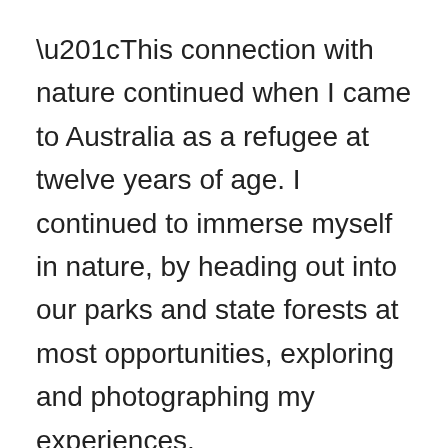“This connection with nature continued when I came to Australia as a refugee at twelve years of age. I continued to immerse myself in nature, by heading out into our parks and state forests at most opportunities, exploring and photographing my experiences.
“I became fascinated with the quoll a few years ago, and the more I read the more I realised just how rare these